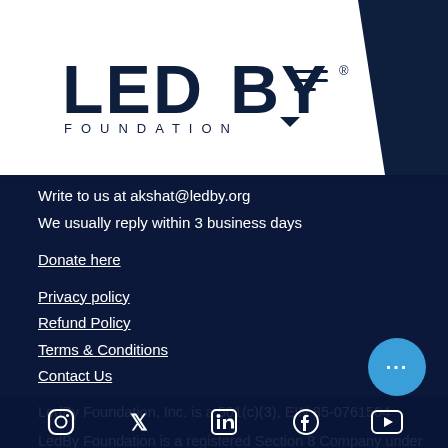[Figure (logo): LED BY FOUNDATION logo in dark navy text on white background]
Write to us at akshat@ledby.org
We usually reply within 3 business days
Donate here
Privacy policy
Refund Policy
Terms & Conditions
Contact Us
LedBy Foundation, Inc. is a 501(c)(3), EIN 85-0761564
LedBy Foundation is a registered Section 8 Company under the Companies Act, 2013, CIN U80903UP2020NPL135057
[Figure (infographic): Social media icons row: Instagram, Twitter/X, LinkedIn, Facebook, YouTube]